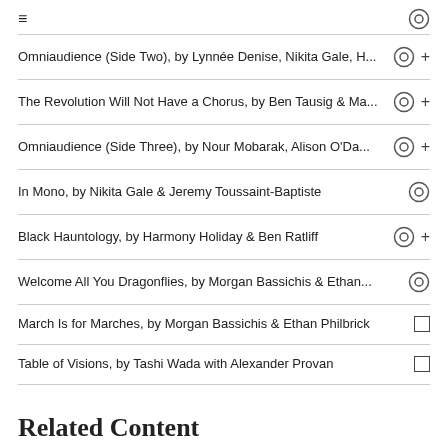Omniaudience (Side Two), by Lynnée Denise, Nikita Gale, H...
The Revolution Will Not Have a Chorus, by Ben Tausig & Ma...
Omniaudience (Side Three), by Nour Mobarak, Alison O'Da...
In Mono, by Nikita Gale & Jeremy Toussaint-Baptiste
Black Hauntology, by Harmony Holiday & Ben Ratliff
Welcome All You Dragonflies, by Morgan Bassichis & Ethan...
March Is for Marches, by Morgan Bassichis & Ethan Philbrick
Table of Visions, by Tashi Wada with Alexander Provan
Related Content